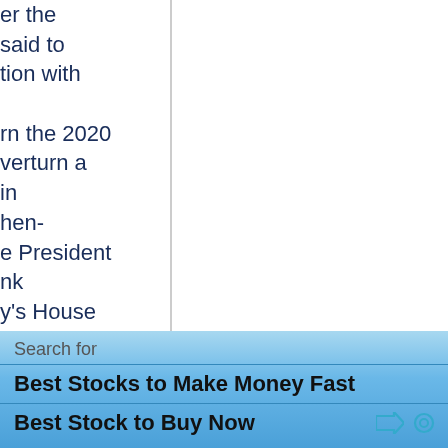er the said to tion with rn the 2020 verturn a in hen- e President nk y's House votes, "For eaker than eral tepien se he felt described
Search for
Best Stocks to Make Money Fast
Best Stock to Buy Now